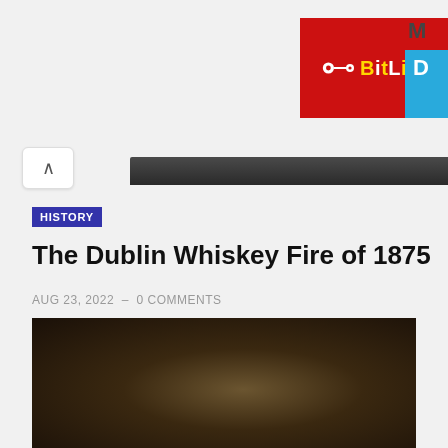[Figure (screenshot): BitLife app advertisement banner with red background, yellow and white logo text]
[Figure (screenshot): Blue advertisement panel with letter M and D visible]
HISTORY
The Dublin Whiskey Fire of 1875
AUG 23, 2022  –  0 COMMENTS
[Figure (photo): Dark moody photo with brownish glow in center, likely showing fire or whiskey-related imagery]